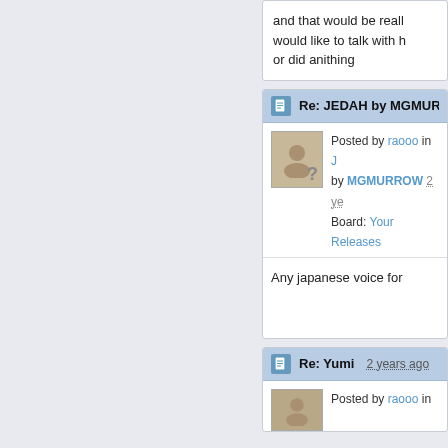and that would be really... would like to talk with h... or did anithing
Re: JEDAH by MGMURR...
Posted by raooo in J... by MGMURROW 2 ye... Board: Your Releases...
Any japanese voice for...
Re: Yumi  2 years ago
Posted by raooo in ...